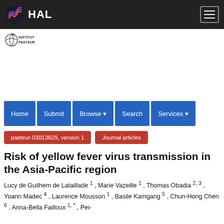[Figure (logo): HAL open archive logo with colored wave icon and white HAL text on dark background]
[Figure (logo): Institut Pasteur logo — globe/leaf icon with INSTITUT PASTEUR text]
Home
Submit
Browse
Search
Services
pasteur-03013629, version 1
Journal articles
Risk of yellow fever virus transmission in the Asia-Pacific region
Lucy de Guilhem de Lataillade 1 , Marie Vazeille 1 , Thomas Obadia 2, 3 , Yoann Madec 4 , Laurence Mousson 1 , Basile Kamgang 5 , Chun-Hong Chen 6 , Anna-Bella Failloux 1, * , Pei-